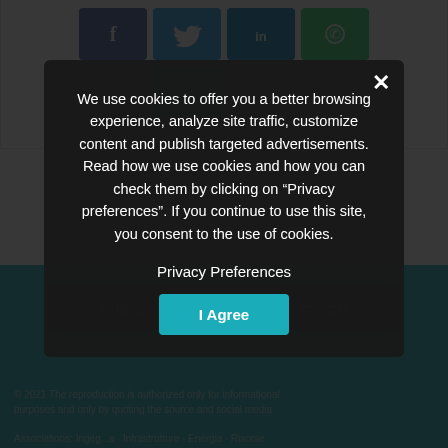[Figure (screenshot): Social share buttons: Facebook (blue), Twitter (light blue), LinkedIn (dark blue), WhatsApp (green) in first row; Telegram (blue), Email (red/pink) in second row]
SUBSCRIBE TO THE NEWSLETTER
We use cookies to offer you a better browsing experience, analyze site traffic, customize content and publish targeted advertisements. Read how we use cookies and how you can check them by clicking on "Privacy preferences". If you continue to use this site, you consent to the use of cookies.
Privacy Preferences
I Agree